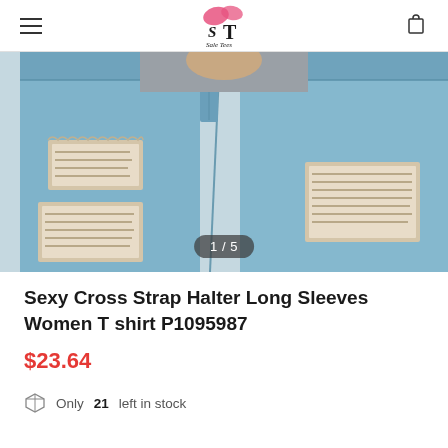Sale Tees logo, hamburger menu, cart icon
[Figure (photo): Close-up photo of a person wearing light blue distressed ripped jeans, showing waist to knee area. Image counter overlay reads 1/5.]
Sexy Cross Strap Halter Long Sleeves Women T shirt P1095987
$23.64
Only 21 left in stock